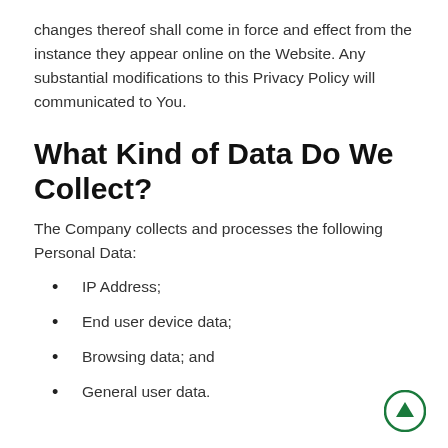changes thereof shall come in force and effect from the instance they appear online on the Website. Any substantial modifications to this Privacy Policy will communicated to You.
What Kind of Data Do We Collect?
The Company collects and processes the following Personal Data:
IP Address;
End user device data;
Browsing data; and
General user data.